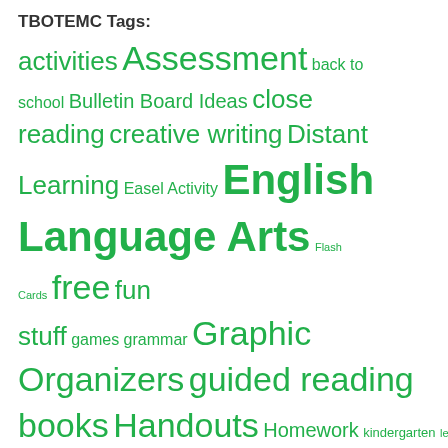TBOTEMC Tags:
activities Assessment back to school Bulletin Board Ideas close reading creative writing Distant Learning Easel Activity English Language Arts Flash Cards free fun stuff games grammar Graphic Organizers guided reading books Handouts Homework kindergarten lesson plans Lesson Plans (Bundled) Lesson Plans (Individual) literature Literature Circles math Mini-course No Prep novel study Other poetry Posters Printables Reading Reading Strategies Rubrics Shakespeare Short Stories Spelling TpT vocabulary worksheets Writing Writing-Essays Writing-Expository Writing Essays
Meta
Log in